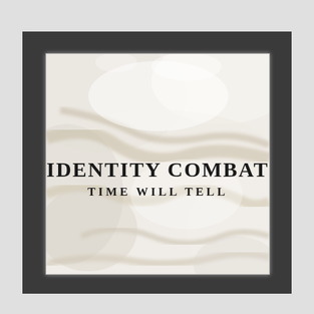[Figure (photo): A CD or vinyl record in a clear plastic sleeve/case, placed on a dark charcoal background. The cover art features a white marble texture with subtle tan/brown veining. In the center of the cover, bold serif text reads 'IDENTITY COMBAT' on the first line and 'TIME WILL TELL' on the second line.]